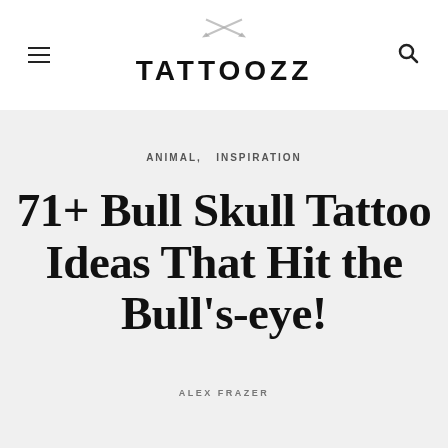TATTOOZZ
ANIMAL,  INSPIRATION
71+ Bull Skull Tattoo Ideas That Hit the Bull's-eye!
ALEX FRAZER